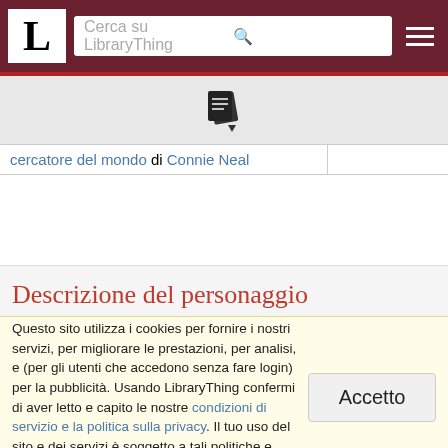LibraryThing — Cerca su LibraryThing
[Figure (screenshot): LibraryThing books/files icon with dropdown arrow]
| cercatore del mondo di Connie Neal |  |
Descrizione del personaggio
Questo sito utilizza i cookies per fornire i nostri servizi, per migliorare le prestazioni, per analisi, e (per gli utenti che accedono senza fare login) per la pubblicità. Usando LibraryThing confermi di aver letto e capito le nostre condizioni di servizio e la politica sulla privacy. Il tuo uso del sito e dei servizi è soggetto a tali politiche e condizioni.